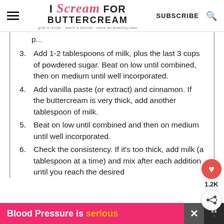I Scream For Buttercream — grab a recipe · watch a tutorial · make an amazing cake — SUBSCRIBE
3. Add 1-2 tablespoons of milk, plus the last 3 cups of powdered sugar. Beat on low until combined, then on medium until well incorporated.
4. Add vanilla paste (or extract) and cinnamon. If the buttercream is very thick, add another tablespoon of milk.
5. Beat on low until combined and then on medium until well incorporated.
6. Check the consistency. If it's too thick, add milk (a tablespoon at a time) and mix after each addition until you reach the desired
Blood Pressure is serious